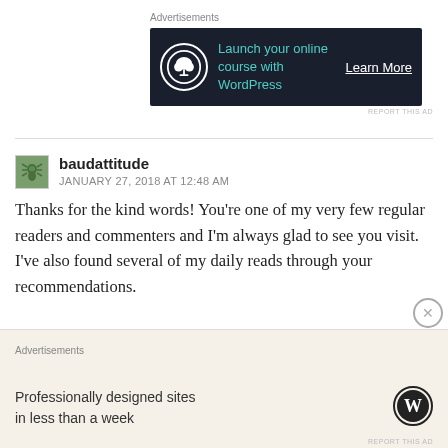Advertisements
[Figure (other): Banner advertisement: dark navy background with bonsai tree icon, teal text 'Launch your online course with WordPress', white underlined 'Learn More' button]
REPORT THIS AD
baudattitude
JANUARY 27, 2018 AT 12:48 AM
Thanks for the kind words! You're one of my very few regular readers and commenters and I'm always glad to see you visit. I've also found several of my daily reads through your recommendations.

I like your advice, because finding a focus has always been a problem for me. I tend to go near-stream-of-
Advertisements
[Figure (other): WordPress advertisement with beige background: 'Professionally designed sites in less than a week' with WordPress logo]
REPORT THIS AD